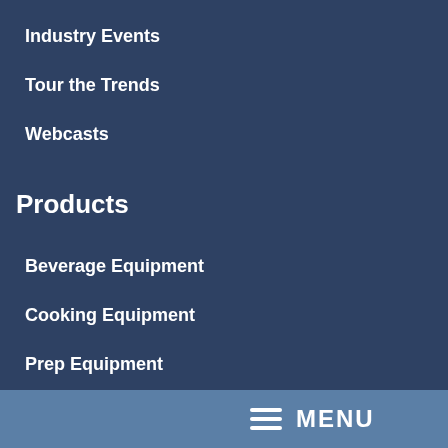Industry Events
Tour the Trends
Webcasts
Products
Beverage Equipment
Cooking Equipment
Prep Equipment
Sanitation and Safety
Serving Equipment
Refrigeration, Storage & Handling
MENU